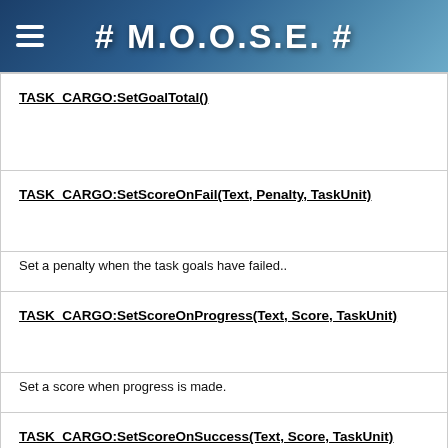# M.O.O.S.E. #
TASK_CARGO:SetGoalTotal()
TASK_CARGO:SetScoreOnFail(Text, Penalty, TaskUnit)
Set a penalty when the task goals have failed..
TASK_CARGO:SetScoreOnProgress(Text, Score, TaskUnit)
Set a score when progress is made.
TASK_CARGO:SetScoreOnSuccess(Text, Score, TaskUnit)
Set a score when success is achieved.